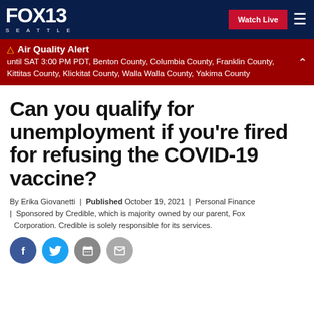FOX 13 SEATTLE | Watch Live
Air Quality Alert until SAT 3:00 PM PDT, Benton County, Columbia County, Franklin County, Kittitas County, Klickitat County, Walla Walla County, Yakima County
Can you qualify for unemployment if you're fired for refusing the COVID-19 vaccine?
By Erika Giovanetti | Published October 19, 2021 | Personal Finance | Sponsored by Credible, which is majority owned by our parent, Fox Corporation. Credible is solely responsible for its services.